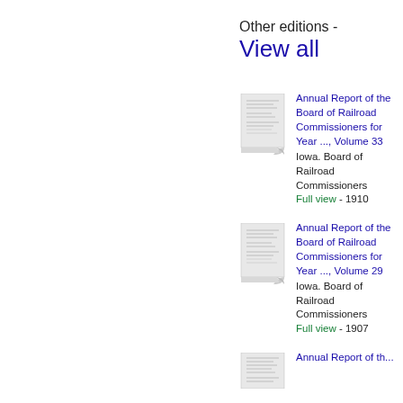Other editions -
View all
[Figure (illustration): Thumbnail image of book cover for Annual Report of the Board of Railroad Commissioners, Volume 33]
Annual Report of the Board of Railroad Commissioners for Year ..., Volume 33
Iowa. Board of Railroad Commissioners
Full view - 1910
[Figure (illustration): Thumbnail image of book cover for Annual Report of the Board of Railroad Commissioners, Volume 29]
Annual Report of the Board of Railroad Commissioners for Year ..., Volume 29
Iowa. Board of Railroad Commissioners
Full view - 1907
[Figure (illustration): Thumbnail image of book cover for Annual Report of the Board of Railroad Commissioners (third entry)]
Annual Report of th...